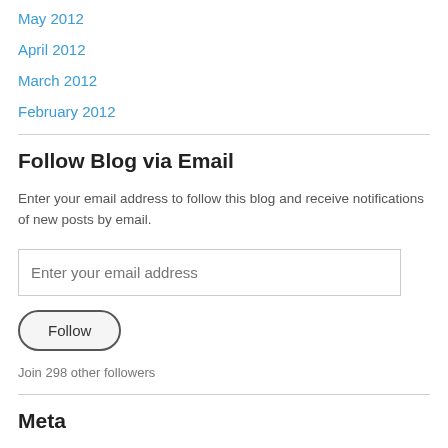May 2012
April 2012
March 2012
February 2012
Follow Blog via Email
Enter your email address to follow this blog and receive notifications of new posts by email.
Enter your email address
Follow
Join 298 other followers
Meta